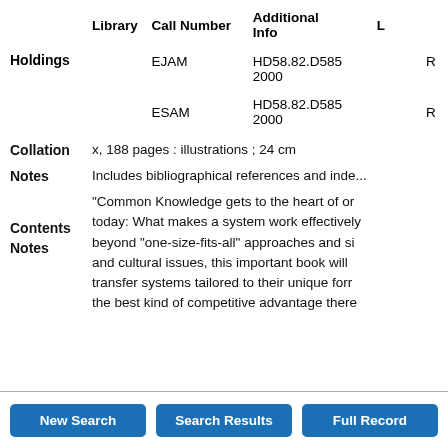| Library | Call Number | Additional Info | L |
| --- | --- | --- | --- |
| EJAM | HD58.82.D585 2000 |  | R |
| ESAM | HD58.82.D585 2000 |  | R |
Collation: x, 188 pages : illustrations ; 24 cm
Notes: Includes bibliographical references and inde...
Contents Notes: "Common Knowledge gets to the heart of on... today: What makes a system work effectively... beyond "one-size-fits-all" approaches and si... and cultural issues, this important book will... transfer systems tailored to their unique form... the best kind of competitive advantage there...
New Search | Search Results | Full Record